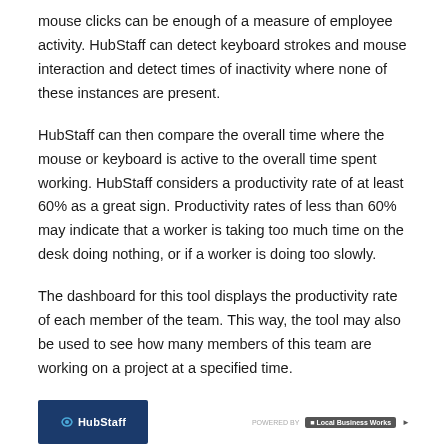mouse clicks can be enough of a measure of employee activity. HubStaff can detect keyboard strokes and mouse interaction and detect times of inactivity where none of these instances are present.
HubStaff can then compare the overall time where the mouse or keyboard is active to the overall time spent working. HubStaff considers a productivity rate of at least 60% as a great sign. Productivity rates of less than 60% may indicate that a worker is taking too much time on the desk doing nothing, or if a worker is doing too slowly.
The dashboard for this tool displays the productivity rate of each member of the team. This way, the tool may also be used to see how many members of this team are working on a project at a specified time.
[Figure (logo): HubStaff logo on dark blue background at bottom left of page, with Local Business Works branding at bottom right]